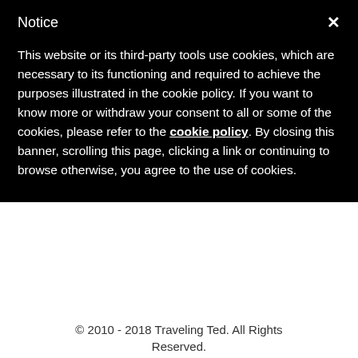Notice
This website or its third-party tools use cookies, which are necessary to its functioning and required to achieve the purposes illustrated in the cookie policy. If you want to know more or withdraw your consent to all or some of the cookies, please refer to the cookie policy.
By closing this banner, scrolling this page, clicking a link or continuing to browse otherwise, you agree to the use of cookies.
© 2010 - 2018 Traveling Ted. All Rights Reserved.